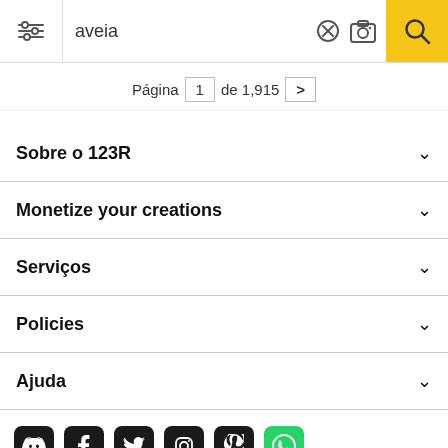aveia
Página 1 de 1,915 >
Sobre o 123R
Monetize your creations
Serviços
Policies
Ajuda
[Figure (infographic): Social media icons: Discord, Facebook, Twitter, Instagram, Pinterest, WhatsApp]
Todos os direitos reservados. © Inmagine Lab Pte Ltd 2022.